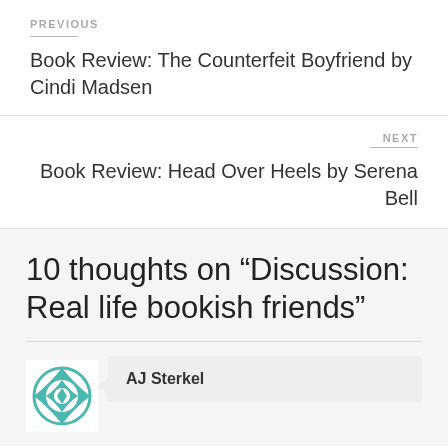PREVIOUS
Book Review: The Counterfeit Boyfriend by Cindi Madsen
NEXT
Book Review: Head Over Heels by Serena Bell
10 thoughts on “Discussion: Real life bookish friends”
AJ Sterkel